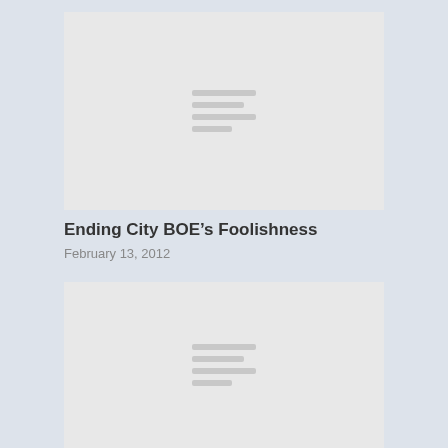[Figure (other): Placeholder image with horizontal lines in the center, light gray background]
Ending City BOE’s Foolishness
February 13, 2012
[Figure (other): Placeholder image with horizontal lines in the center, light gray background]